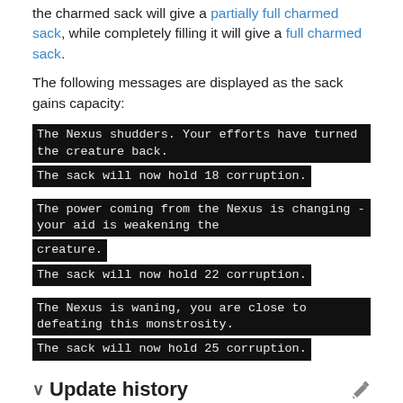the charmed sack will give a partially full charmed sack, while completely filling it will give a full charmed sack.
The following messages are displayed as the sack gains capacity:
The Nexus shudders. Your efforts have turned the creature back.
The sack will now hold 18 corruption.
The power coming from the Nexus is changing - your aid is weakening the creature.
The sack will now hold 22 corruption.
The Nexus is waning, you are close to defeating this monstrosity.
The sack will now hold 25 corruption.
Update history